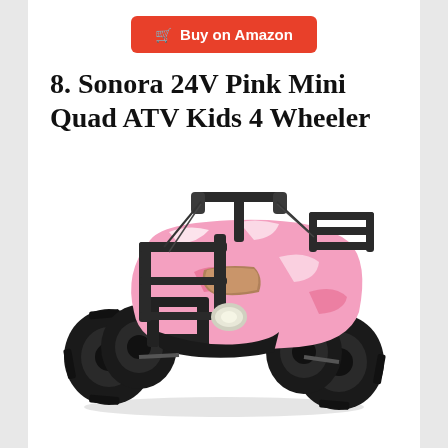Buy on Amazon
8. Sonora 24V Pink Mini Quad ATV Kids 4 Wheeler
[Figure (photo): Pink camouflage mini quad ATV kids 4-wheeler with black metal front and rear racks, black knobby tires, handlebars, and headlight visible. The body has a pink and white camouflage pattern.]